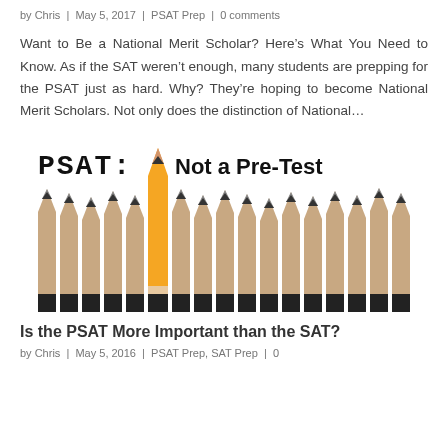by Chris | May 5, 2017 | PSAT Prep | 0 comments
Want to Be a National Merit Scholar? Here's What You Need to Know. As if the SAT weren't enough, many students are prepping for the PSAT just as hard. Why? They're hoping to become National Merit Scholars. Not only does the distinction of National…
[Figure (photo): Photo of pencils lined up with one yellow pencil standing tallest among grey pencils, with text 'PSAT: Not a Pre-Test' overlaid]
Is the PSAT More Important than the SAT?
by Chris | May 5, 2016 | PSAT Prep, SAT Prep | 0